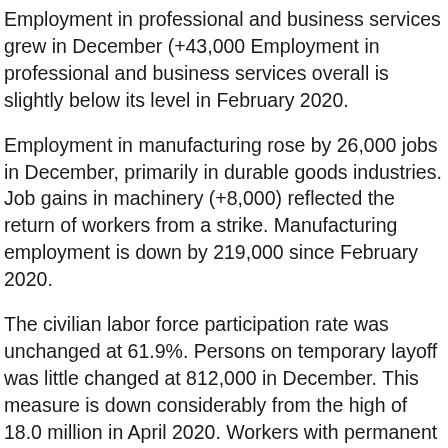Employment in professional and business services grew in December (+43,000 Employment in professional and business services overall is slightly below its level in February 2020.
Employment in manufacturing rose by 26,000 jobs in December, primarily in durable goods industries. Job gains in machinery (+8,000) reflected the return of workers from a strike. Manufacturing employment is down by 219,000 since February 2020.
The civilian labor force participation rate was unchanged at 61.9%. Persons on temporary layoff was little changed at 812,000 in December. This measure is down considerably from the high of 18.0 million in April 2020. Workers with permanent job loss declined to 1.7 million.